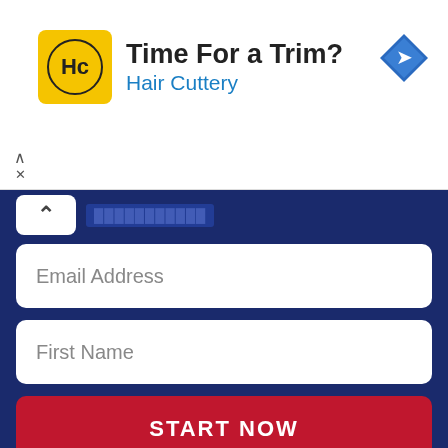[Figure (infographic): Hair Cuttery advertisement banner with yellow logo, 'Time For a Trim?' headline, blue 'Hair Cuttery' subtitle, and blue diamond navigation icon]
Email Address
First Name
START NOW
Have a Mental Illness
#bipolar
#bipolar tips
#Living with Mental Illness
#mental health advice